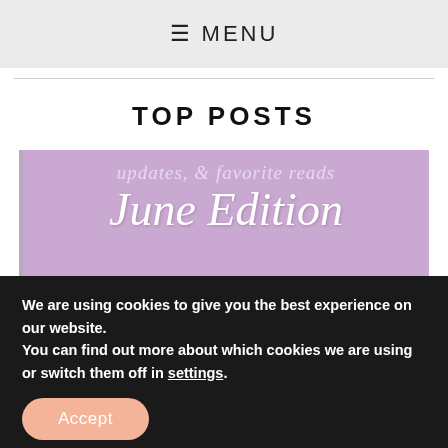≡ MENU
TOP POSTS
[Figure (illustration): Purple banner image with italic serif text reading 'updates, & favorite reads' and large script 'June Edition', below which is a burlap/linen texture strip]
We are using cookies to give you the best experience on our website.
You can find out more about which cookies we are using or switch them off in settings.
Accept